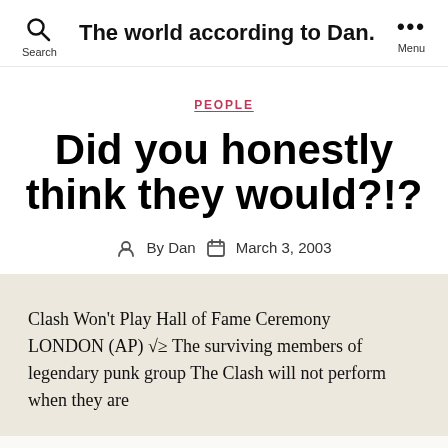The world according to Dan.
PEOPLE
Did you honestly think they would?!?
By Dan  March 3, 2003
Clash Won't Play Hall of Fame Ceremony LONDON (AP) √≥ The surviving members of legendary punk group The Clash will not perform when they are